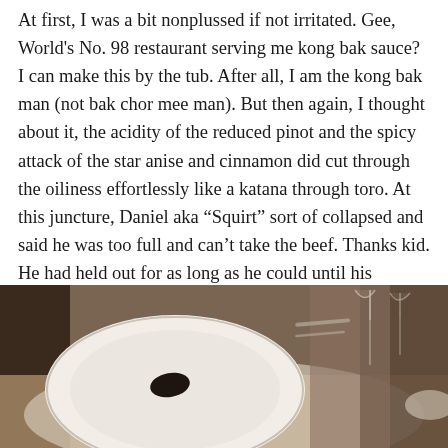At first, I was a bit nonplussed if not irritated. Gee, World's No. 98 restaurant serving me kong bak sauce? I can make this by the tub. After all, I am the kong bak man (not bak chor mee man). But then again, I thought about it, the acidity of the reduced pinot and the spicy attack of the star anise and cinnamon did cut through the oiliness effortlessly like a katana through toro. At this juncture, Daniel aka “Squirt” sort of collapsed and said he was too full and can’t take the beef. Thanks kid. He had held out for as long as he could until his Margaux was served and he had finally reached the rather shallow ends of his pansy liver.
[Figure (photo): Restaurant table photo showing a large white plate with a small dark food element in the center, wine glasses in the background, and white tablecloth on a warm-toned table surface.]